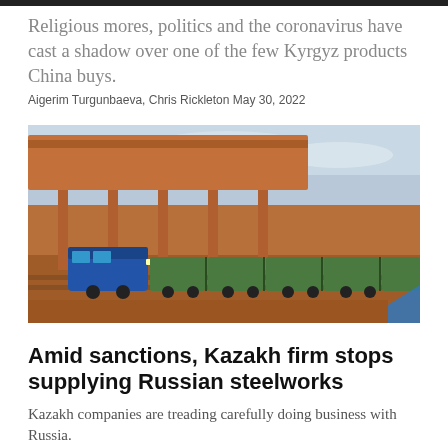Religious mores, politics and the coronavirus have cast a shadow over one of the few Kyrgyz products China buys.
Aigerim Turgunbaeva, Chris Rickleton May 30, 2022
[Figure (photo): A blue locomotive pulling green freight cars along a rail track through a red-dust industrial landscape, with a large elevated conveyor or loading structure in the background under a cloudy sky.]
Amid sanctions, Kazakh firm stops supplying Russian steelworks
Kazakh companies are treading carefully doing business with Russia.
Joanna Lillis May 18, 2022